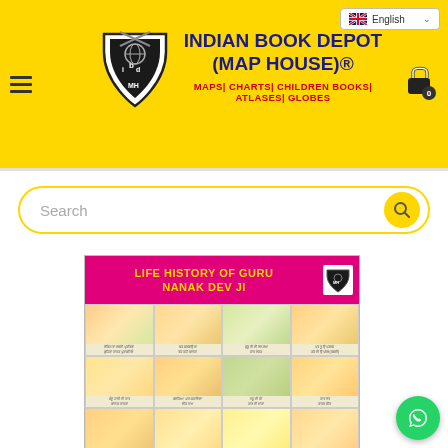Indian Book Depot (Map House)® — MAPS| CHARTS| CHILDREN BOOKS| ATLASES| GLOBES
[Figure (screenshot): Search bar with yellow border and search icon]
[Figure (illustration): Life History of Guru Nanak Dev Ji — educational chart with illustrated scenes in a 4x3 grid showing episodes from Guru Nanak's life, with captions in Punjabi/Hindi]
[Figure (logo): WhatsApp floating button (green circle with WhatsApp icon)]